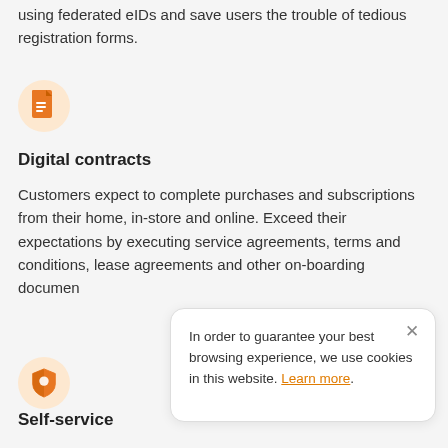using federated eIDs and save users the trouble of tedious registration forms.
[Figure (illustration): Orange document/file icon inside a light orange circle]
Digital contracts
Customers expect to complete purchases and subscriptions from their home, in-store and online. Exceed their expectations by executing service agreements, terms and conditions, lease agreements and other on-boarding documen
[Figure (illustration): Cookie consent popup: 'In order to guarantee your best browsing experience, we use cookies in this website. Learn more.']
[Figure (illustration): Orange shield icon inside a light orange circle]
Self-service